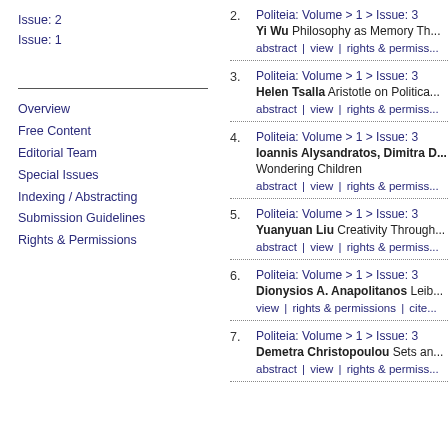Issue: 2
Issue: 1
Overview
Free Content
Editorial Team
Special Issues
Indexing / Abstracting
Submission Guidelines
Rights & Permissions
2. Politeia: Volume > 1 > Issue: 3
Yi Wu Philosophy as Memory Th...
abstract | view | rights & permiss...
3. Politeia: Volume > 1 > Issue: 3
Helen Tsalla Aristotle on Politica...
abstract | view | rights & permiss...
4. Politeia: Volume > 1 > Issue: 3
Ioannis Alysandratos, Dimitra D...
Wondering Children
abstract | view | rights & permiss...
5. Politeia: Volume > 1 > Issue: 3
Yuanyuan Liu Creativity Through...
abstract | view | rights & permiss...
6. Politeia: Volume > 1 > Issue: 3
Dionysios A. Anapolitanos Leib...
view | rights & permissions | cite...
7. Politeia: Volume > 1 > Issue: 3
Demetra Christopoulou Sets an...
abstract | view | rights & permiss...